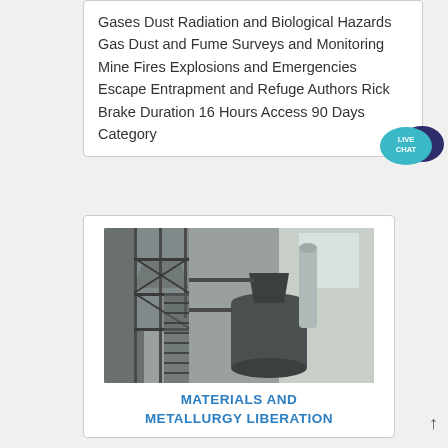Gases Dust Radiation and Biological Hazards Gas Dust and Fume Surveys and Monitoring Mine Fires Explosions and Emergencies Escape Entrapment and Refuge Authors Rick Brake Duration 16 Hours Access 90 Days Category
[Figure (photo): Industrial facility interior showing metal scaffolding, staircases, silos and industrial processing equipment including a large cylindrical vessel or mill, with concrete walls and natural light from windows.]
MATERIALS AND METALLURGY LIBERATION